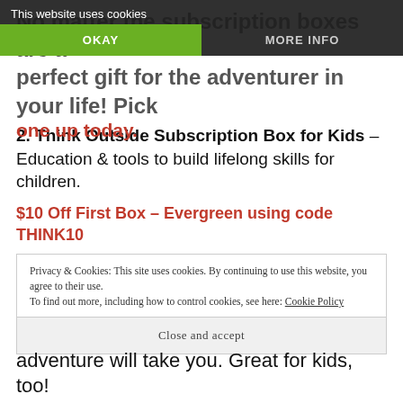No matter the subscription boxes are a perfect gift for the adventurer in your life! Pick one up today.
This website uses cookies | OKAY | MORE INFO
2. Think Outside Subscription Box for Kids – Education & tools to build lifelong skills for children.
$10 Off First Box – Evergreen using code THINK10
Privacy & Cookies: This site uses cookies. By continuing to use this website, you agree to their use.
To find out more, including how to control cookies, see here: Cookie Policy
Close and accept
adventure will take you. Great for kids, too!